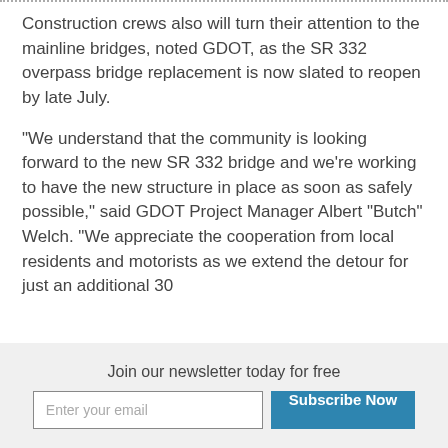Construction crews also will turn their attention to the mainline bridges, noted GDOT, as the SR 332 overpass bridge replacement is now slated to reopen by late July.
"We understand that the community is looking forward to the new SR 332 bridge and we're working to have the new structure in place as soon as safely possible," said GDOT Project Manager Albert "Butch" Welch. "We appreciate the cooperation from local residents and motorists as we extend the detour for just an additional 30
Join our newsletter today for free